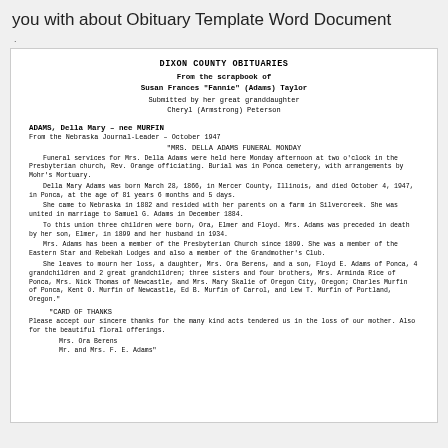you with about Obituary Template Word Document
.
DIXON COUNTY OBITUARIES
From the scrapbook of
Susan Frances "Fannie" (Adams) Taylor
Submitted by her great granddaughter
Cheryl (Armstrong) Peterson
ADAMS, Della Mary – nee MURFIN
From the Nebraska Journal-Leader – October 1947
"MRS. DELLA ADAMS FUNERAL MONDAY
Funeral services for Mrs. Della Adams were held here Monday afternoon at two o'clock in the Presbyterian church, Rev. Orange officiating. Burial was in Ponca cemetery, with arrangements by Mohr's Mortuary.
Della Mary Adams was born March 28, 1866, in Mercer County, Illinois, and died October 4, 1947, in Ponca, at the age of 81 years 6 months and 5 days.
She came to Nebraska in 1882 and resided with her parents on a farm in Silvercreek. She was united in marriage to Samuel G. Adams in December 1884.
To this union three children were born, Ora, Elmer and Floyd. Mrs. Adams was preceded in death by her son, Elmer, in 1899 and her husband in 1934.
Mrs. Adams has been a member of the Presbyterian Church since 1899. She was a member of the Eastern Star and Rebekah Lodges and also a member of the Grandmother's Club.
She leaves to mourn her loss, a daughter, Mrs. Ora Berens, and a son, Floyd E. Adams of Ponca, 4 grandchildren and 2 great grandchildren; three sisters and four brothers, Mrs. Arminda Rice of Ponca, Mrs. Nick Thomas of Newcastle, and Mrs. Mary Skalie of Oregon City, Oregon; Charles Murfin of Ponca, Kent O. Murfin of Newcastle, Ed B. Murfin of Carrol, and Lew T. Murfin of Portland, Oregon."
"CARD OF THANKS
Please accept our sincere thanks for the many kind acts tendered us in the loss of our mother. Also for the beautiful floral offerings.
Mrs. Ora Berens
Mr. and Mrs. F. E. Adams"